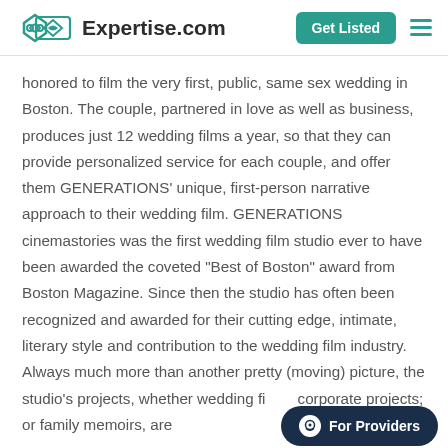Expertise.com
honored to film the very first, public, same sex wedding in Boston. The couple, partnered in love as well as business, produces just 12 wedding films a year, so that they can provide personalized service for each couple, and offer them GENERATIONS' unique, first-person narrative approach to their wedding film. GENERATIONS cinemastories was the first wedding film studio ever to have been awarded the coveted "Best of Boston" award from Boston Magazine. Since then the studio has often been recognized and awarded for their cutting edge, intimate, literary style and contribution to the wedding film industry. Always much more than another pretty (moving) picture, the studio's projects, whether wedding fi... corporate projects; or family memoirs, are